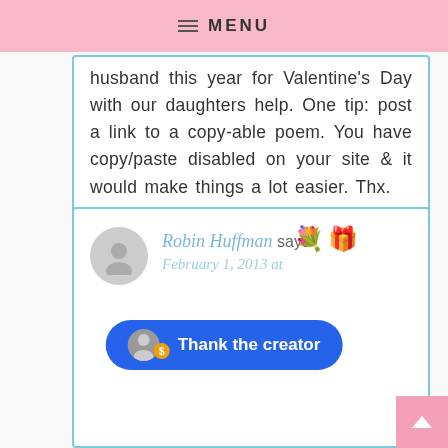MENU
husband this year for Valentine's Day with our daughters help. One tip: post a link to a copy-able poem. You have copy/paste disabled on your site & it would make things a lot easier. Thx.
Reply
Robin Huffman says
February 1, 2013 at